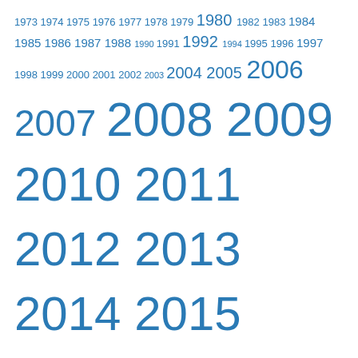1973 1974 1975 1976 1977 1978 1979 1980 1982 1983 1984 1985 1986 1987 1988 1990 1991 1992 1994 1995 1996 1997 1998 1999 2000 2001 2002 2003 2004 2005 2006 2007 2008 2009 2010 2011 2012 2013 2014 2015 2016 2017 2018 2019 2020 2021 2022 academy awards oscars podcast The B.A.N.G Show
Genres
Action Adventure Animation Awards Biography Comedy Drama